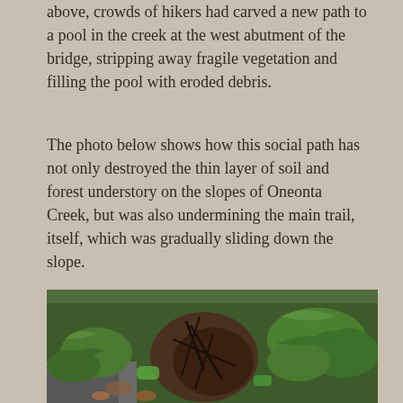above, crowds of hikers had carved a new path to a pool in the creek at the west abutment of the bridge, stripping away fragile vegetation and filling the pool with eroded debris.
The photo below shows how this social path has not only destroyed the thin layer of soil and forest understory on the slopes of Oneonta Creek, but was also undermining the main trail, itself, which was gradually sliding down the slope.
[Figure (photo): A forest floor scene showing eroded soil and exposed roots on a steep slope along Oneonta Creek, with ferns and green understory vegetation surrounding a bare eroded patch of dark soil and root systems, illustrating trail damage from social paths.]